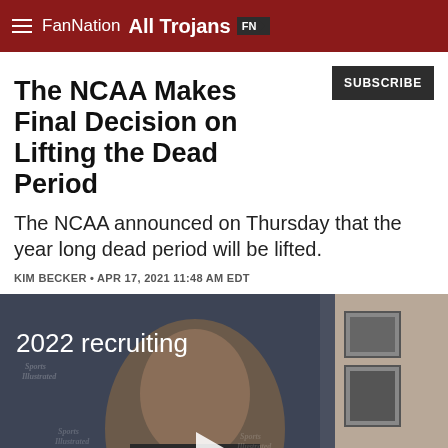FanNation All Trojans
The NCAA Makes Final Decision on Lifting the Dead Period
The NCAA announced on Thursday that the year long dead period will be lifted.
KIM BECKER • APR 17, 2021 11:48 AM EDT
[Figure (photo): Video thumbnail showing a man in a suit with '2022 recruiting' overlay text and a play button, Sports Illustrated branding visible in background]